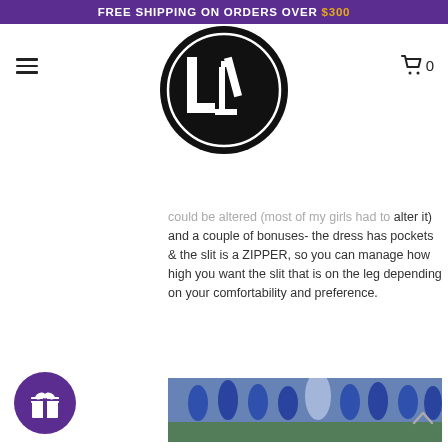FREE SHIPPING ON ORDERS OVER $300
[Figure (logo): LC brand logo: black circle with white LC monogram letters]
could be altered (most of my girls had to alter it) and a couple of bonuses- the dress has pockets & the slit is a ZIPPER, so you can manage how high you want the slit that is on the leg depending on your comfortability and preference.
[Figure (photo): Group of bridesmaids in blue floral dresses with one bride in light blue gown, posing outdoors on grass]